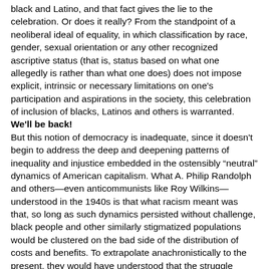black and Latino, and that fact gives the lie to the celebration. Or does it really? From the standpoint of a neoliberal ideal of equality, in which classification by race, gender, sexual orientation or any other recognized ascriptive status (that is, status based on what one allegedly is rather than what one does) does not impose explicit, intrinsic or necessary limitations on one's participation and aspirations in the society, this celebration of inclusion of blacks, Latinos and others is warranted.
We'll be back!
But this notion of democracy is inadequate, since it doesn't begin to address the deep and deepening patterns of inequality and injustice embedded in the ostensibly “neutral” dynamics of American capitalism. What A. Philip Randolph and others—even anticommunists like Roy Wilkins—understood in the 1940s is that what racism meant was that, so long as such dynamics persisted without challenge, black people and other similarly stigmatized populations would be clustered on the bad side of the distribution of costs and benefits. To extrapolate anachronistically to the present, they would have understood that the struggle against racial health disparities, for example, has no real chance of success apart